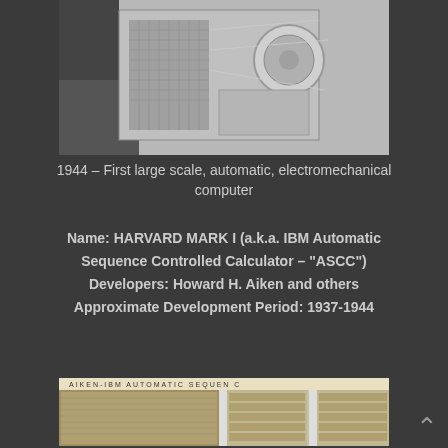[Figure (photo): Black and white photograph of an early computing machine, showing mechanical components and wiring from above.]
1944 – First large scale, automatic, electromechanical computer
Name: HARVARD MARK I (a.k.a. IBM Automatic Sequence Controlled Calculator – "ASCC") Developers: Howard H. Aiken and others Approximate Development Period: 1937-1944
[Figure (photo): Color photograph of the AIKEN-IBM AUTOMATIC SEQUENCE controlled calculator, showing large panels of relay and mechanical components in a room-sized installation.]